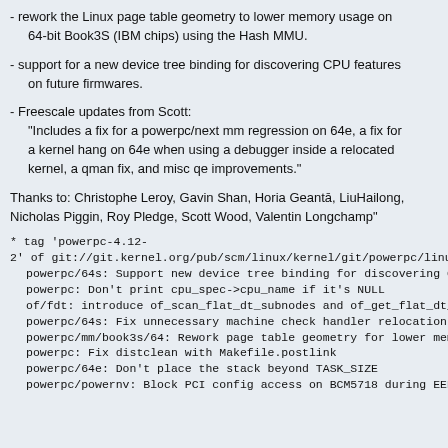- rework the Linux page table geometry to lower memory usage on 64-bit Book3S (IBM chips) using the Hash MMU.
- support for a new device tree binding for discovering CPU features on future firmwares.
- Freescale updates from Scott:
"Includes a fix for a powerpc/next mm regression on 64e, a fix for a kernel hang on 64e when using a debugger inside a relocated kernel, a qman fix, and misc qe improvements."
Thanks to: Christophe Leroy, Gavin Shan, Horia Geantā, LiuHailong, Nicholas Piggin, Roy Pledge, Scott Wood, Valentin Longchamp"
* tag 'powerpc-4.12-2' of git://git.kernel.org/pub/scm/linux/kernel/git/powerpc/linux:
  powerpc/64s: Support new device tree binding for discovering CPU feature
  powerpc: Don't print cpu_spec->cpu_name if it's NULL
  of/fdt: introduce of_scan_flat_dt_subnodes and of_get_flat_dt_phandle
  powerpc/64s: Fix unnecessary machine check handler relocation branch
  powerpc/mm/book3s/64: Rework page table geometry for lower memory u
  powerpc: Fix distclean with Makefile.postlink
  powerpc/64e: Don't place the stack beyond TASK_SIZE
  powerpc/powernv: Block PCI config access on BCM5718 during EEH reco